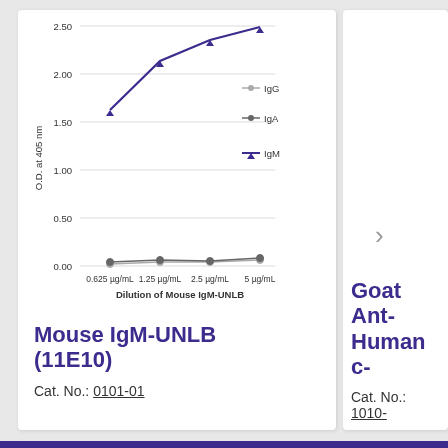[Figure (line-chart): ]
Mouse IgM-UNLB (11E10)
Cat. No.: 0101-01
Goat Ant- Human c-
Cat. No.: 1010-